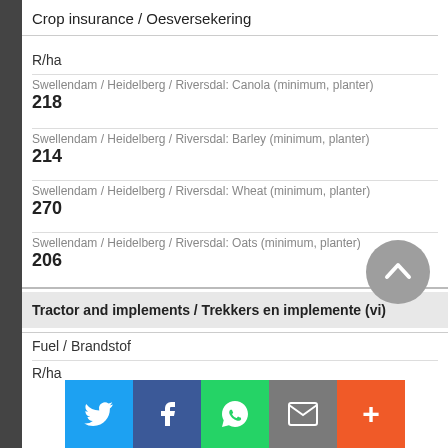Crop insurance / Oesversekering
R/ha
Swellendam / Heidelberg / Riversdal: Canola (minimum, planter)
218
Swellendam / Heidelberg / Riversdal: Barley (minimum, planter)
214
Swellendam / Heidelberg / Riversdal: Wheat (minimum, planter)
270
Swellendam / Heidelberg / Riversdal: Oats (minimum, planter)
206
Tractor and implements / Trekkers en implemente (vi)
Fuel / Brandstof
R/ha